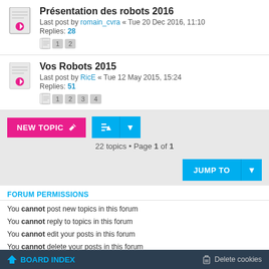Présentation des robots 2016 — Last post by romain_cvra « Tue 20 Dec 2016, 11:10 — Replies: 28 — Pages: 1 2
Vos Robots 2015 — Last post by RicE « Tue 12 May 2015, 15:24 — Replies: 51 — Pages: 1 2 3 4
22 topics • Page 1 of 1
You cannot post new topics in this forum
You cannot reply to topics in this forum
You cannot edit your posts in this forum
You cannot delete your posts in this forum
You cannot post attachments in this forum
BOARD INDEX    Delete cookies